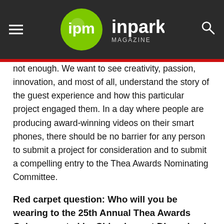ipm inpark MAGAZINE
not enough. We want to see creativity, passion, innovation, and most of all, understand the story of the guest experience and how this particular project engaged them. In a day where people are producing award-winning videos on their smart phones, there should be no barrier for any person to submit a project for consideration and to submit a compelling entry to the Thea Awards Nominating Committee.
Red carpet question: Who will you be wearing to the 25th Annual Thea Awards Gala presented by Chimelong at Disneyland Resort in Anaheim on April 13, 2019?
I will be wearing the beautiful lighting created by Steven Young, one of Visual Terrain's Principal Lighting Designers, as he is lighting the show again this year [Visual Terrain has provided lighting design to the Thea Awards Gala on many occasions].